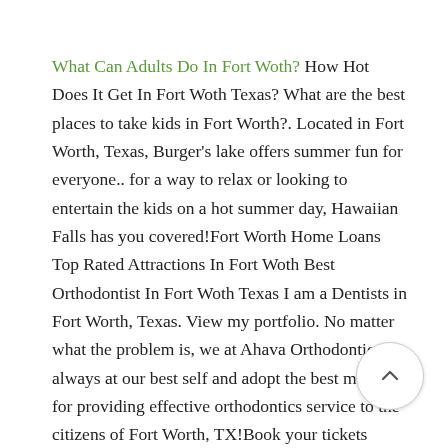What Can Adults Do In Fort Woth? How Hot Does It Get In Fort Woth Texas? What are the best places to take kids in Fort Worth?. Located in Fort Worth, Texas, Burger's lake offers summer fun for everyone.. for a way to relax or looking to entertain the kids on a hot summer day, Hawaiian Falls has you covered!Fort Worth Home Loans Top Rated Attractions In Fort Woth Best Orthodontist In Fort Woth Texas I am a Dentists in Fort Worth, Texas. View my portfolio. No matter what the problem is, we at Ahava Orthodontics are always at our best self and adopt the best methods for providing effective orthodontics service to the citizens of Fort Worth, TX!Book your tickets online for the top things to do in Fort Worth, Texas on TripAdvisor: See 27,184 traveller reviews and photos of fort worth tourist attractions. find what to do today, this weekend, or in August. We have reviews of